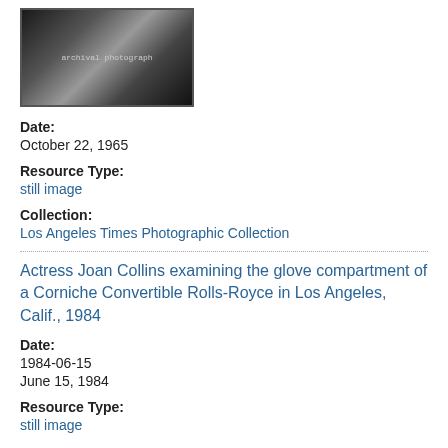[Figure (photo): Black and white archival photograph, partially visible at top of page]
Date:
October 22, 1965
Resource Type:
still image
Collection:
Los Angeles Times Photographic Collection
Actress Joan Collins examining the glove compartment of a Corniche Convertible Rolls-Royce in Los Angeles, Calif., 1984
Date:
1984-06-15
June 15, 1984
Resource Type:
still image